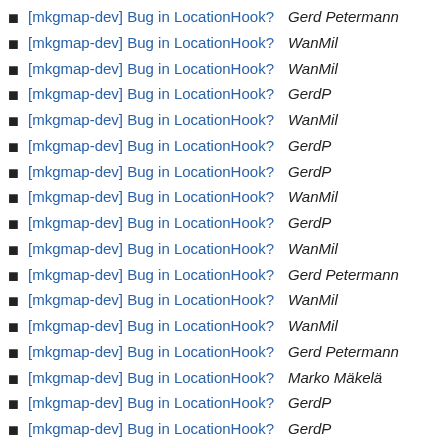[mkgmap-dev] Bug in LocationHook?  Gerd Petermann
[mkgmap-dev] Bug in LocationHook?  WanMil
[mkgmap-dev] Bug in LocationHook?  WanMil
[mkgmap-dev] Bug in LocationHook?  GerdP
[mkgmap-dev] Bug in LocationHook?  WanMil
[mkgmap-dev] Bug in LocationHook?  GerdP
[mkgmap-dev] Bug in LocationHook?  GerdP
[mkgmap-dev] Bug in LocationHook?  WanMil
[mkgmap-dev] Bug in LocationHook?  GerdP
[mkgmap-dev] Bug in LocationHook?  WanMil
[mkgmap-dev] Bug in LocationHook?  Gerd Petermann
[mkgmap-dev] Bug in LocationHook?  WanMil
[mkgmap-dev] Bug in LocationHook?  WanMil
[mkgmap-dev] Bug in LocationHook?  Gerd Petermann
[mkgmap-dev] Bug in LocationHook?  Marko Mäkelä
[mkgmap-dev] Bug in LocationHook?  GerdP
[mkgmap-dev] Bug in LocationHook?  GerdP
[mkgmap-dev] Bug in LocationHook?  GerdP